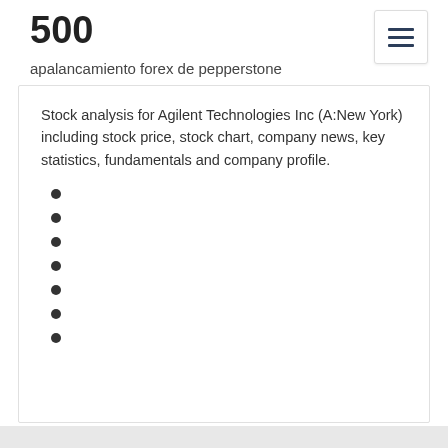500
apalancamiento forex de pepperstone
Stock analysis for Agilent Technologies Inc (A:New York) including stock price, stock chart, company news, key statistics, fundamentals and company profile.